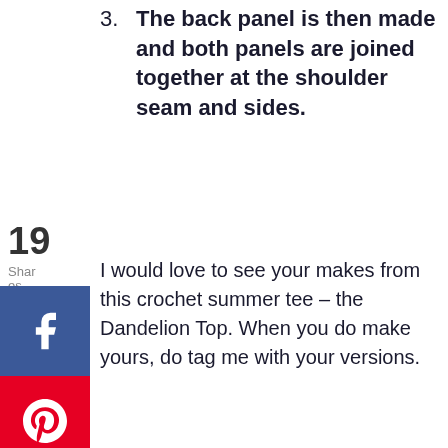3. The back panel is then made and both panels are joined together at the shoulder seam and sides.
I would love to see your makes from this crochet summer tee – the Dandelion Top. When you do make yours, do tag me with your versions.